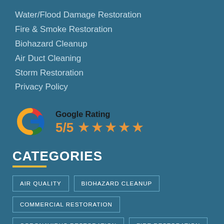Water/Flood Damage Restoration
Fire & Smoke Restoration
Biohazard Cleanup
Air Duct Cleaning
Storm Restoration
Privacy Policy
[Figure (logo): Google G logo with red, blue, yellow, green colors]
Google Rating 5/5 ★★★★★
CATEGORIES
AIR QUALITY
BIOHAZARD CLEANUP
COMMERCIAL RESTORATION
CORONAVIRUS RESTORATION
FIRE RESTORATION